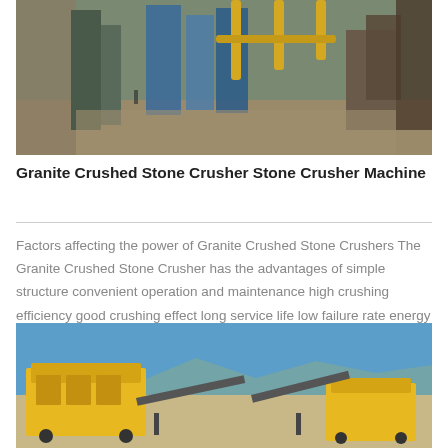[Figure (photo): Industrial stone crushing plant facility with blue dust collection equipment, yellow pipes, and machinery surrounded by rocky terrain and mountains in the background.]
Granite Crushed Stone Crusher Stone Crusher Machine
Factors affecting the power of Granite Crushed Stone Crushers The Granite Crushed Stone Crusher has the advantages of simple structure convenient operation and maintenance high crushing efficiency good crushing effect long service life low failure rate energy saving green environmental protection etc so it is widely used in metallurgy mining water conservancy In the fields of
[Figure (photo): Yellow mobile stone crusher machine with conveyor belts set up in an open field under a clear blue sky with mountains visible in the distance.]